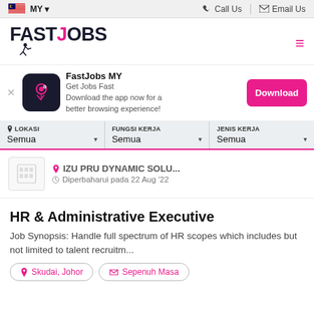MY | Call Us | Email Us
FASTJOBS
[Figure (infographic): FastJobs MY app download banner with app icon, name, tagline and Download button]
LOKASI Semua | FUNGSI KERJA Semua | JENIS KERJA Semua
IZU PRU DYNAMIC SOLU... Diperbaharui pada 22 Aug '22
HR & Administrative Executive
Job Synopsis: Handle full spectrum of HR scopes which includes but not limited to talent recruitm...
Skudai, Johor | Sepenuh Masa